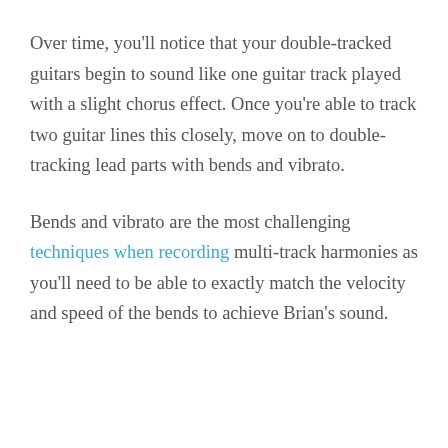Over time, you'll notice that your double-tracked guitars begin to sound like one guitar track played with a slight chorus effect. Once you're able to track two guitar lines this closely, move on to double-tracking lead parts with bends and vibrato.
Bends and vibrato are the most challenging techniques when recording multi-track harmonies as you'll need to be able to exactly match the velocity and speed of the bends to achieve Brian's sound.